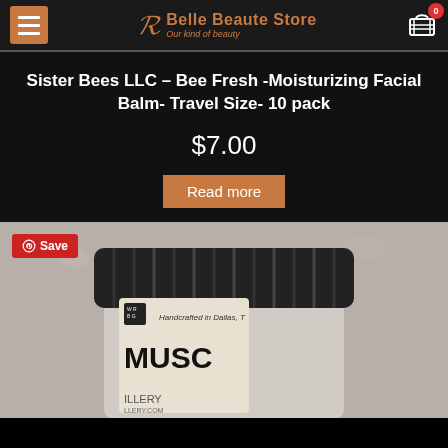Belle Beaute Store — Our kind of beauty
Sister Bees LLC – Bee Fresh -Moisturizing Facial Balm- Travel Size- 10 pack
$7.00
Read more
[Figure (photo): A jar of facial balm product labeled with text including 'Handcrafted in Dallas' and 'MUSC...' visible, with a black ribbed lid, on a light speckled stone/concrete background. A red Pinterest 'Save' button overlays the top-left corner.]